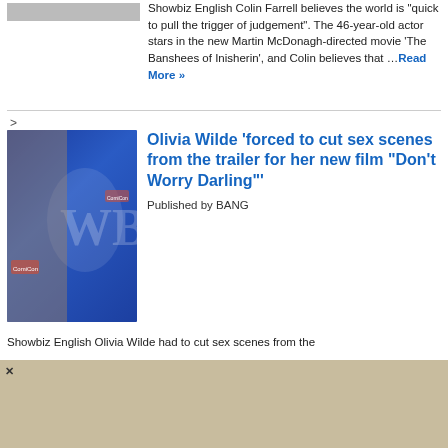Showbiz English Colin Farrell believes the world is "quick to pull the trigger of judgement". The 46-year-old actor stars in the new Martin McDonagh-directed movie 'The Banshees of Inisherin', and Colin believes that …Read More »
[Figure (photo): Photo of Olivia Wilde at Warner Bros CinemaCon event, wearing a blue satin outfit in front of WB logo backdrop]
Olivia Wilde 'forced to cut sex scenes from the trailer for her new film "Don't Worry Darling"'
Published by BANG Showbiz English
Showbiz English Olivia Wilde had to cut sex scenes from the